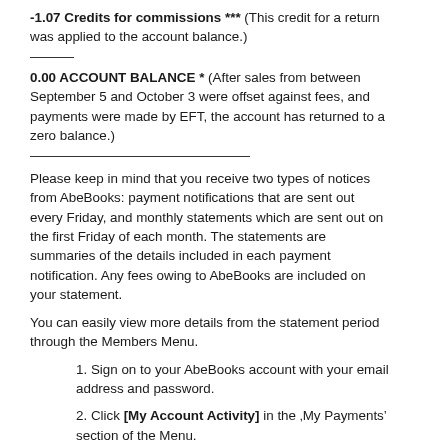-1.07 Credits for commissions *** (This credit for a return was applied to the account balance.)
0.00 ACCOUNT BALANCE * (After sales from between September 5 and October 3 were offset against fees, and payments were made by EFT, the account has returned to a zero balance.)
Please keep in mind that you receive two types of notices from AbeBooks: payment notifications that are sent out every Friday, and monthly statements which are sent out on the first Friday of each month. The statements are summaries of the details included in each payment notification. Any fees owing to AbeBooks are included on your statement.
You can easily view more details from the statement period through the Members Menu.
1. Sign on to your AbeBooks account with your email address and password.
2. Click [My Account Activity] in the ‚My Payments’ section of the Menu.
If you'd like to view the payments made to you each week during the